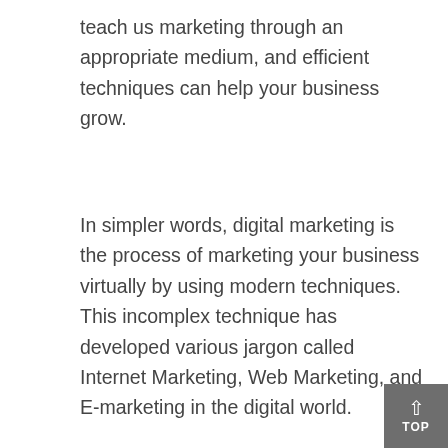teach us marketing through an appropriate medium, and efficient techniques can help your business grow.
In simpler words, digital marketing is the process of marketing your business virtually by using modern techniques. This incomplex technique has developed various jargon called Internet Marketing, Web Marketing, and E-marketing in the digital world.
[Figure (photo): Broken/missing image placeholder with landscape icon]
When COVID-19 had caused the